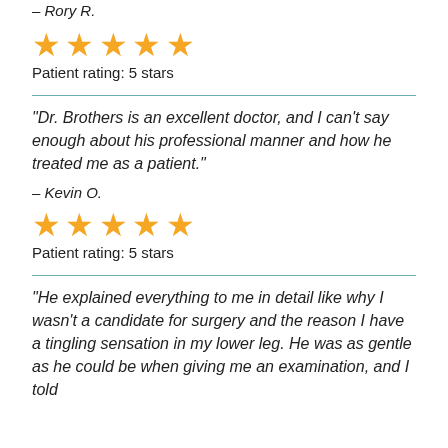– Rory R.
[Figure (other): Five orange star icons representing a 5-star patient rating]
Patient rating: 5 stars
“Dr. Brothers is an excellent doctor, and I can’t say enough about his professional manner and how he treated me as a patient.”
– Kevin O.
[Figure (other): Five orange star icons representing a 5-star patient rating]
Patient rating: 5 stars
“He explained everything to me in detail like why I wasn’t a candidate for surgery and the reason I have a tingling sensation in my lower leg. He was as gentle as he could be when giving me an examination, and I told…